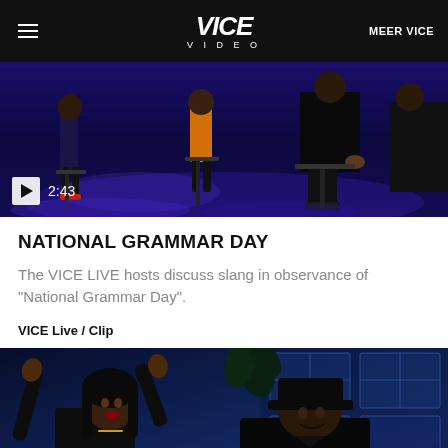VICE VIDEO | MEER VICE
[Figure (screenshot): Video thumbnail showing people seated on stools with purple/blue stage lighting, play button showing 2:43 duration]
NATIONAL GRAMMAR DAY
The VICE LIVE hosts discuss slang in observance of "National Grammar Day".
VICE Live / Clip
[Figure (screenshot): Video thumbnail showing two people in conversation against blue-lit background with plants and windows visible]